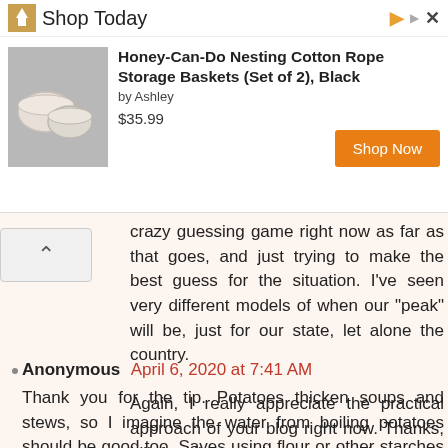[Figure (other): Advertisement banner: Ashley Furniture logo, 'Shop Today' header with close button. Product: Honey-Can-Do Nesting Cotton Rope Storage Baskets (Set of 2), Black by Ashley, $35.99, with Shop Now orange button.]
crazy guessing game right now as far as that goes, and just trying to make the best guess for the situation. I've seen very different models of when our "peak" will be, just for our state, let alone the country.
Again, I really appreciate the practical approach of your blog right now. Thanks, Lili, for all the work you put into it.
Reply
Anonymous April 6, 2020 at 7:41 AM
Thank you for the tip. Potatoes thicken soups and stews, so I imagine the water from boiling potatoes should be good too. Saves using flour or other starches to thicken. We don't have any potatoes at the moment. We haven't shopped for groceries since mid February. We received 2 pineapples and a bag of romaine lettuce from others, that's